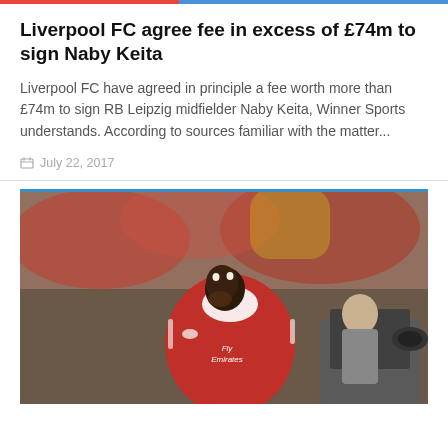Liverpool FC agree fee in excess of £74m to sign Naby Keita
Liverpool FC have agreed in principle a fee worth more than £74m to sign RB Leipzig midfielder Naby Keita, Winner Sports understands. According to sources familiar with the matter...
July 22, 2017
[Figure (photo): A footballer wearing a red and white Arsenal Fly Emirates jersey, looking upward with hand near mouth, with a cameraman visible in the background and crowd behind]